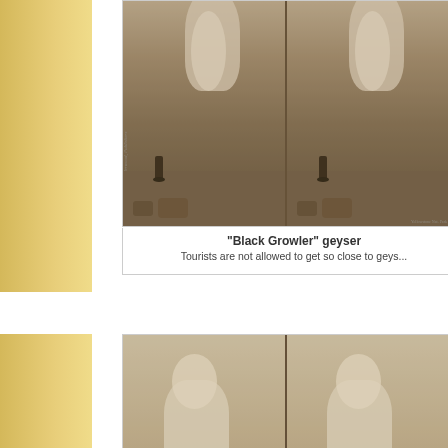[Figure (photo): Stereograph card showing 'Black Growler' geyser with tourists standing close to the erupting geyser, two side-by-side views (stereoscopic format). Sepia-toned historical photograph.]
"Black Growler" geyser
Tourists are not allowed to get so close to geys...
[Figure (photo): Stereograph card showing 'Constant Geyser' with a man standing close to the erupting geyser, two side-by-side views (stereoscopic format). Sepia-toned historical photograph.]
"Constant Geyser"
Today, Park Officials would not want you this close to the Geyser.
[Figure (photo): Partial view of another stereograph card at the bottom of the page, partially cropped.]